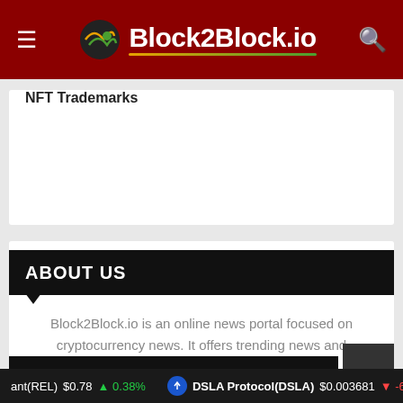Block2Block.io
NFT Trademarks
ABOUT US
Block2Block.io is an online news portal focused on cryptocurrency news. It offers trending news and information related to news
RECENT POSTS
ant(REL) $0.78 ↑ 0.38%   DSLA Protocol(DSLA) $0.003681 ↓ -6